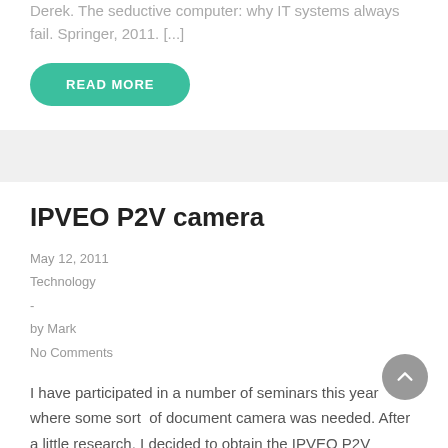Derek. The seductive computer: why IT systems always fail. Springer, 2011. [...]
READ MORE
IPVEO P2V camera
May 12, 2011
Technology
-
by Mark
No Comments
I have participated in a number of seminars this year where some sort of document camera was needed. After a little research, I decided to obtain the IPVEO P2V camera. It